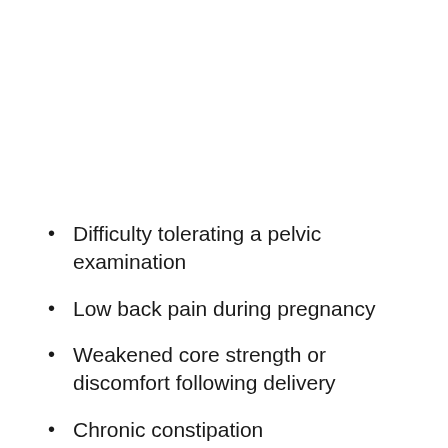Difficulty tolerating a pelvic examination
Low back pain during pregnancy
Weakened core strength or discomfort following delivery
Chronic constipation
Frequent urination
Loss of bowel/bladder control when